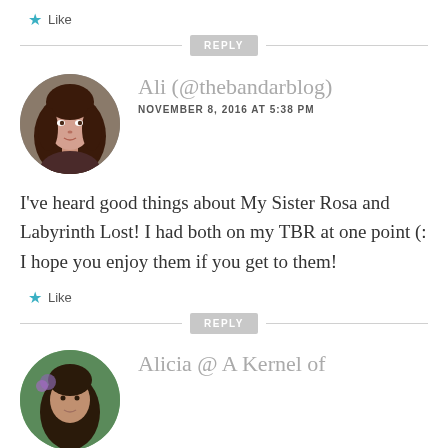★ Like
REPLY
[Figure (photo): Circular avatar photo of Ali, a woman with long dark brown hair, against a blurred outdoor background.]
Ali (@thebandarblog)
NOVEMBER 8, 2016 AT 5:38 PM
I've heard good things about My Sister Rosa and Labyrinth Lost! I had both on my TBR at one point (: I hope you enjoy them if you get to them!
★ Like
REPLY
[Figure (photo): Circular avatar photo of Alicia, partially visible at bottom of page.]
Alicia @ A Kernel of